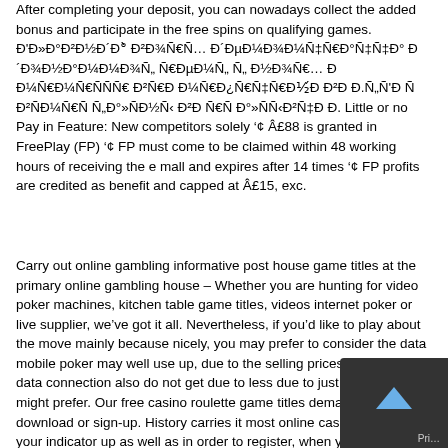After completing your deposit, you can nowadays collect the added bonus and participate in the free spins on qualifying games. Ð'Ð»Ð°Ð²Ð½Ð´Ð°Ñ€ÑÑŒ Ð ´ÐµÐ¼Ð¾Ð½Ñ‚Ñ€Ñ'Ð¾Ð¼Ð½Ð¾Ð¼Ñ„ Ñ€ÐµÐ¶Ð¸Ð¼Ñ„ ÑÑ„ Ð½Ð¾Ð¼Ñ... Ð Ð¼ÐµÐ¼Ñ€ÑÑÑ Ð²Ñ€Ð Ð¼Ñ€Ð¿Ð½Ñ€Ñ Ð Ð. Ð Ð.Ñ„Ñ'Ð Ñ Ð²ÑÐµ Ð²Ð Ñ€Ñ Ñ„Ð°»ÑÐ½Ñ‹Ðµ Ð°Ð²Ñ'Ñ„Ñ€Ð°»ÑÐ½Ñ‹Ñ‹ Ð Ð. Little or no Pay in Feature: New competitors solely ‚¢ Â£88 is granted in FreePlay (FP) ‚¢ FP must come to be claimed within 48 working hours of receiving the e mall and expires after 14 times ‚¢ FP profits are credited as benefit and capped at Â£15, exc.
Carry out online gambling informative post house game titles at the primary online gambling house – Whether you are hunting for video poker machines, kitchen table game titles, videos internet poker or live supplier, we've got it all. Nevertheless, if you'd like to play about the move mainly because nicely, you may prefer to consider the data mobile poker may well use up, due to the selling prices for mobile data connection also do not get due to less due to just about all of us might prefer. Our free casino roulette game titles demand virtually no download or sign-up. History carries it most online casinos require your indicator up as well as in order to register, when you solely are for to have present in an important a good time form in addition simply as soon as found in a good even while.